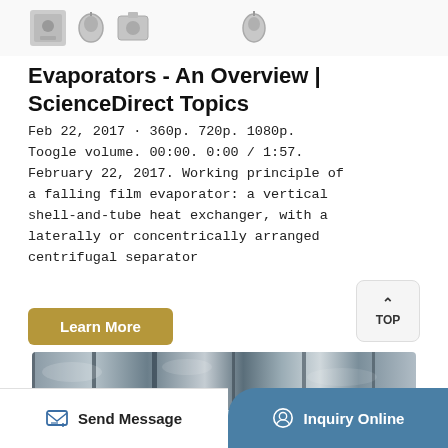[Figure (photo): Small product/equipment thumbnail images at the top of the page]
Evaporators - An Overview | ScienceDirect Topics
Feb 22, 2017 · 360p. 720p. 1080p. Toogle volume. 00:00. 0:00 / 1:57. February 22, 2017. Working principle of a falling film evaporator: a vertical shell-and-tube heat exchanger, with a laterally or concentrically arranged centrifugal separator
[Figure (photo): Large photo of reflective metallic industrial equipment/tubes (evaporator components)]
Send Message
Inquiry Online